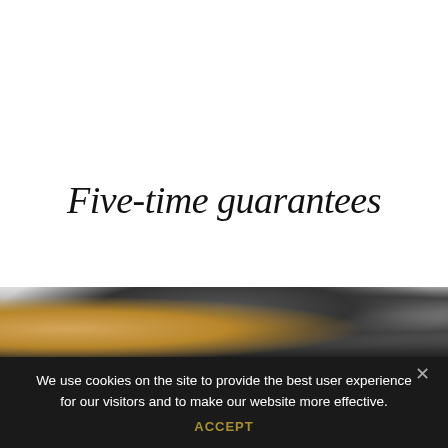[Figure (photo): White header area of a website with a horizontal divider line]
Five-time guarantees
[Figure (photo): Partial view of a person's hand working with a cardboard box or similar object, dark background]
We use cookies on the site to provide the best user experience for our visitors and to make our website more effective.
ACCEPT